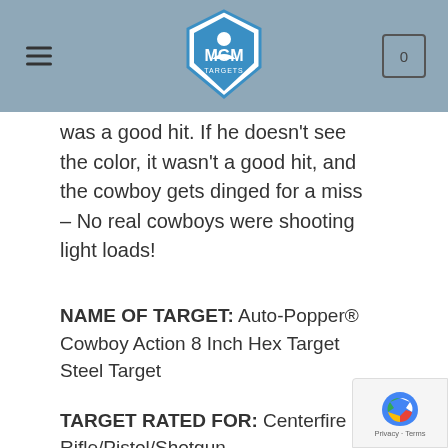MGM Targets header with logo, hamburger menu, and cart icon
was a good hit. If he doesn't see the color, it wasn't a good hit, and the cowboy gets dinged for a miss – No real cowboys were shooting light loads!
NAME OF TARGET: Auto-Popper® Cowboy Action 8 Inch Hex Target Steel Target
TARGET RATED FOR: Centerfire Rifle/Pistol/Shotgun
STRIKE PLATE MATERIAL:  HEXALLOY 550 HEXPLATE